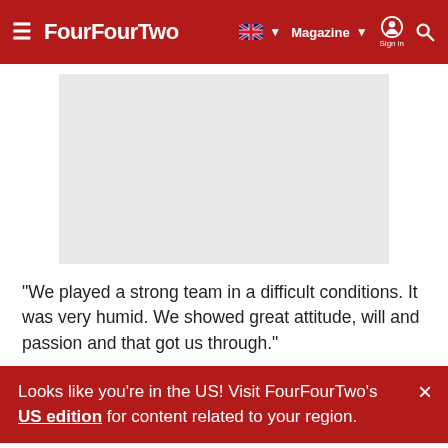FourFourTwo — Magazine — Sign in
[Figure (photo): Light grey image placeholder rectangle]
"We played a strong team in a difficult conditions. It was very humid. We showed great attitude, will and passion and that got us through."
Looks like you're in the US! Visit FourFourTwo's US edition for content related to your region.